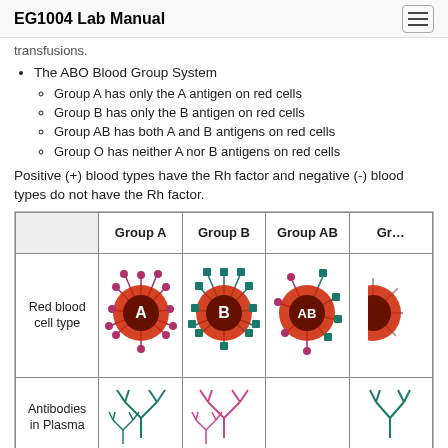EG1004 Lab Manual
transfusions.
The ABO Blood Group System
Group A has only the A antigen on red cells
Group B has only the B antigen on red cells
Group AB has both A and B antigens on red cells
Group O has neither A nor B antigens on red cells
Positive (+) blood types have the Rh factor and negative (-) blood types do not have the Rh factor.
[Figure (illustration): Table showing blood group types (Group A, Group B, Group AB, Group O) with red blood cell type diagrams showing A antigen (red cell with purple markers), B antigen (red cell with teal markers), AB antigen (red cell with both purple and teal markers), and antibodies in plasma icons (teal and pink Y-shaped antibody symbols).]